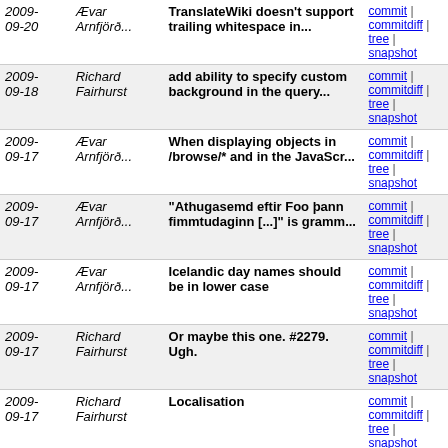| Date | Author | Message | Links |
| --- | --- | --- | --- |
| 2009-09-20 | Ævar Arnfjörð... | TranslateWiki doesn't support trailing whitespace in... | commit | commitdiff | tree | snapshot |
| 2009-09-18 | Richard Fairhurst | add ability to specify custom background in the query... | commit | commitdiff | tree | snapshot |
| 2009-09-17 | Ævar Arnfjörð... | When displaying objects in /browse/* and in the JavaScr... | commit | commitdiff | tree | snapshot |
| 2009-09-17 | Ævar Arnfjörð... | "Athugasemd eftir Foo þann fimmtudaginn [...]" is gramm... | commit | commitdiff | tree | snapshot |
| 2009-09-17 | Ævar Arnfjörð... | Icelandic day names should be in lower case | commit | commitdiff | tree | snapshot |
| 2009-09-17 | Richard Fairhurst | Or maybe this one. #2279. Ugh. | commit | commitdiff | tree | snapshot |
| 2009-09-17 | Richard Fairhurst | Localisation | commit | commitdiff | tree | snapshot |
| 2009-09-17 | Richard Fairhurst | Potlatch 1.2b | commit | commitdiff | tree | snapshot |
| 2009-09-15 | Tom Hughes | Display the changeset comment (if any) as part of the... | commit | commitdiff | tree | snapshot |
| 2009-09-15 | Tom Hughes | Update be locale. Closes #2284. | commit | commitdiff | tree | snapshot |
| 2009-09-15 | Tom Hughes | Remove scale bar. Closes #1704. | commit | commitdiff | tree | snapshot |
| 2009-09-14 | Ævar Arnfjörð... | So the way [17620] did it sucked but [17624] broke... | commit | commitdiff | tree | snapshot |
| 2009-09-14 | Ævar Arnfjörð... | auto_link() changeset comments in the global/user/bbox... | commit | commitdiff | tree | snapshot |
| 2009- | Tom | Update Russian translation. | commit | commitdiff |